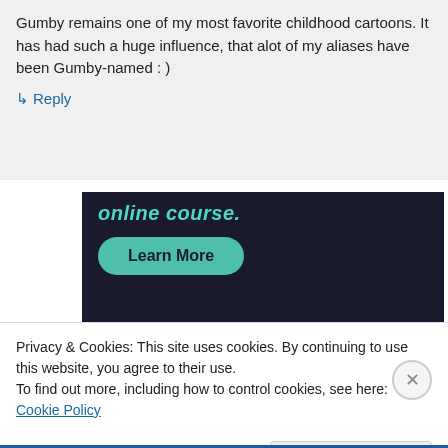Gumby remains one of my most favorite childhood cartoons. It has had such a huge influence, that alot of my aliases have been Gumby-named : )
↳ Reply
[Figure (screenshot): Dark navy advertisement block with teal italic text 'online course.' and a teal rounded 'Learn More' button]
Privacy & Cookies: This site uses cookies. By continuing to use this website, you agree to their use.
To find out more, including how to control cookies, see here: Cookie Policy
Close and accept